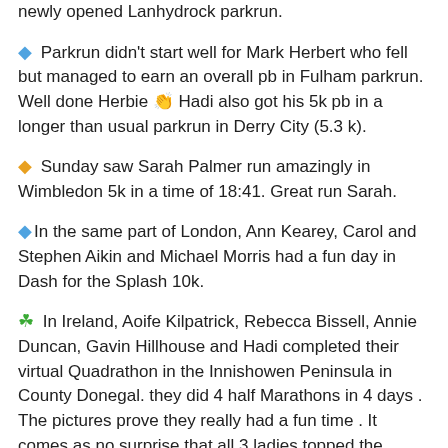newly opened Lanhydrock parkrun.
Parkrun didn't start well for Mark Herbert who fell but managed to earn an overall pb in Fulham parkrun. Well done Herbie 👏 Hadi also got his 5k pb in a longer than usual parkrun in Derry City (5.3 k).
Sunday saw Sarah Palmer run amazingly in Wimbledon 5k in a time of 18:41. Great run Sarah.
In the same part of London, Ann Kearey, Carol and Stephen Aikin and Michael Morris had a fun day in Dash for the Splash 10k.
In Ireland, Aoife Kilpatrick, Rebecca Bissell, Annie Duncan, Gavin Hillhouse and Hadi completed their virtual Quadrathon in the Innishowen Peninsula in County Donegal. they did 4 half Marathons in 4 days . The pictures prove they really had a fun time . It comes as no surprise that all 3 ladies topped the leader order this week.